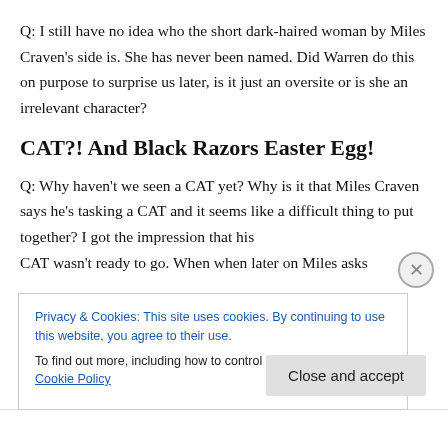Q: I still have no idea who the short dark-haired woman by Miles Craven's side is.  She has never been named.  Did Warren do this on purpose to surprise us later, is it just an oversite or is she an irrelevant character?
CAT?!  And Black Razors Easter Egg!
Q: Why haven't we seen a CAT yet?  Why is it that Miles Craven says he's tasking a CAT and it seems like a difficult thing to put together?  I got the impression that his CAT wasn't ready to go.  When when later on Miles asks…
Privacy & Cookies: This site uses cookies. By continuing to use this website, you agree to their use.
To find out more, including how to control cookies, see here: Cookie Policy